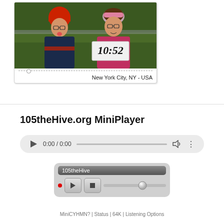[Figure (photo): Photo of two children outdoors in winter clothing in front of a hedge. Left child wears red hat and dark jacket, right child wears pink headband and pink jacket. The girl on the right holds a sign showing the time 10:52. Below photo is a progress bar and location text reading 'New York City, NY - USA'.]
New York City, NY - USA
105theHive.org MiniPlayer
[Figure (screenshot): HTML5 audio player widget showing 0:00 / 0:00 with play button, progress bar, volume icon, and more options icon.]
[Figure (screenshot): Flash-based radio player widget with title bar showing '105theHive', record dot, play button, stop button, and volume slider.]
MiniCYHMN? | Status | 64K | Listening Options